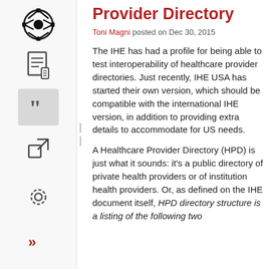[Figure (logo): Black and white soccer-ball-like icon in sidebar]
[Figure (illustration): Document/list icon in sidebar]
[Figure (illustration): Quote mark icon in sidebar (highlighted box)]
[Figure (illustration): External link icon in sidebar]
[Figure (illustration): Settings gear icon in sidebar bottom]
[Figure (illustration): Double right-arrow icon in sidebar bottom]
Healthcare Provider Directory
Toni Magni posted on Dec 30, 2015
The IHE has had a profile for being able to test interoperability of healthcare provider directories. Just recently, IHE USA has started their own version, which should be compatible with the international IHE version, in addition to providing extra details to accommodate for US needs.
A Healthcare Provider Directory (HPD) is just what it sounds: it's a public directory of private health providers or of institution health providers. Or, as defined on the IHE document itself, HPD directory structure is a listing of the following two